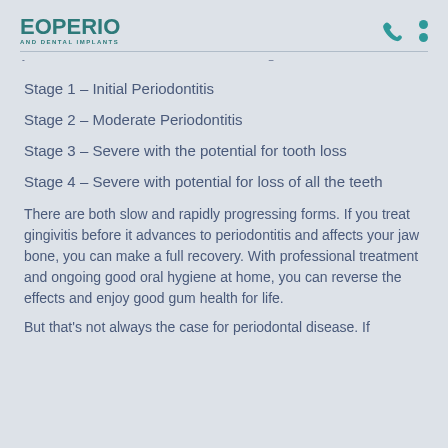EOPERIO AND DENTAL IMPLANTS
Stage 1 – Initial Periodontitis
Stage 2 – Moderate Periodontitis
Stage 3 – Severe with the potential for tooth loss
Stage 4 – Severe with potential for loss of all the teeth
There are both slow and rapidly progressing forms. If you treat gingivitis before it advances to periodontitis and affects your jaw bone, you can make a full recovery. With professional treatment and ongoing good oral hygiene at home, you can reverse the effects and enjoy good gum health for life.
But that's not always the case for periodontal disease. If